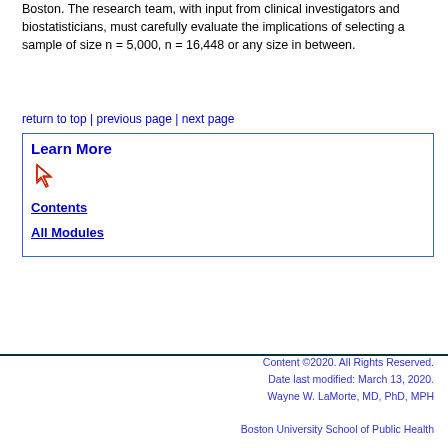Boston. The research team, with input from clinical investigators and biostatisticians, must carefully evaluate the implications of selecting a sample of size n = 5,000, n = 16,448 or any size in between.
return to top | previous page | next page
Learn More
Contents
All Modules
Content ©2020. All Rights Reserved. Date last modified: March 13, 2020. Wayne W. LaMorte, MD, PhD, MPH
Boston University School of Public Health